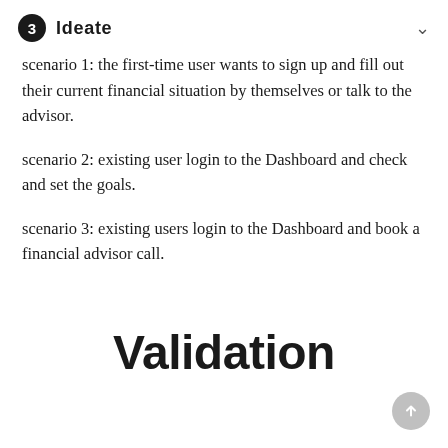3 Ideate
scenario 1: the first-time user wants to sign up and fill out their current financial situation by themselves or talk to the advisor.
scenario 2: existing user login to the Dashboard and check and set the goals.
scenario 3: existing users login to the Dashboard and book a financial advisor call.
Validation